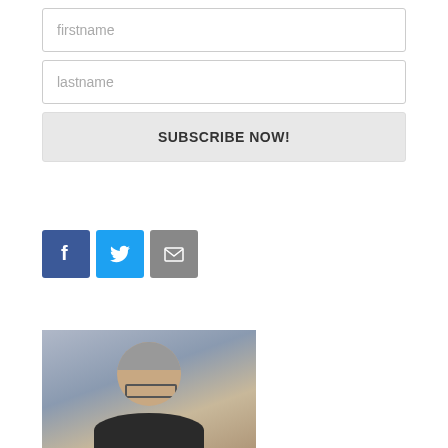[Figure (screenshot): Form input field with placeholder text 'firstname']
[Figure (screenshot): Form input field with placeholder text 'lastname']
[Figure (screenshot): Subscribe button with text 'SUBSCRIBE NOW!']
[Figure (infographic): Three social media icon buttons: Facebook (blue), Twitter (light blue), Email/mail (gray)]
[Figure (photo): Headshot photo of a middle-aged man with gray hair and glasses against a gray/blue background]